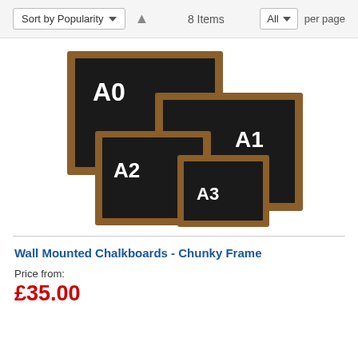Sort by Popularity  ↑  8 Items  All  per page
[Figure (photo): Four wooden-framed black chalkboards of different sizes (A0, A1, A2, A3) arranged in a stacked/overlapping display, each labeled with white chalk lettering.]
Wall Mounted Chalkboards - Chunky Frame
Price from:
£35.00